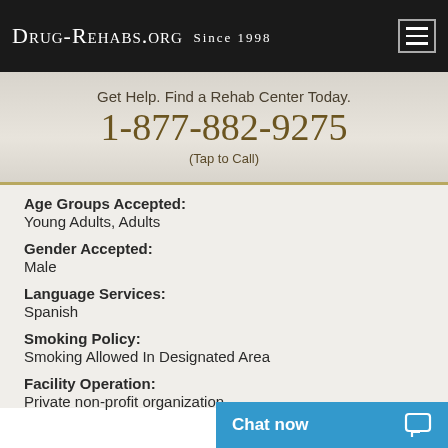Drug-Rehabs.org Since 1998
Get Help. Find a Rehab Center Today. 1-877-882-9275 (Tap to Call)
Age Groups Accepted: Young Adults, Adults
Gender Accepted: Male
Language Services: Spanish
Smoking Policy: Smoking Allowed In Designated Area
Facility Operation: Private non-profit organization
Chat now